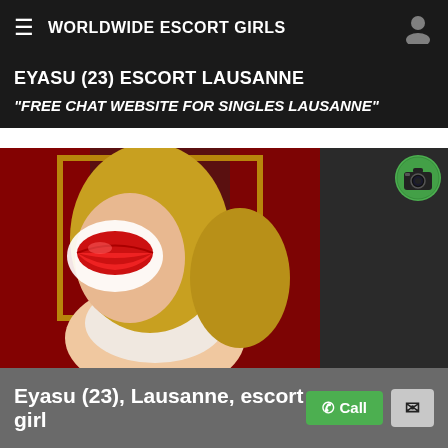WORLDWIDE ESCORT GIRLS
EYASU (23) ESCORT LAUSANNE
"FREE CHAT WEBSITE FOR SINGLES LAUSANNE"
[Figure (photo): Photo of a blonde woman in white lingerie with a red lips emoji sticker covering her face, background features red drapery and a gilt frame. A green camera icon appears in the upper right.]
Eyasu (23), Lausanne, escort girl